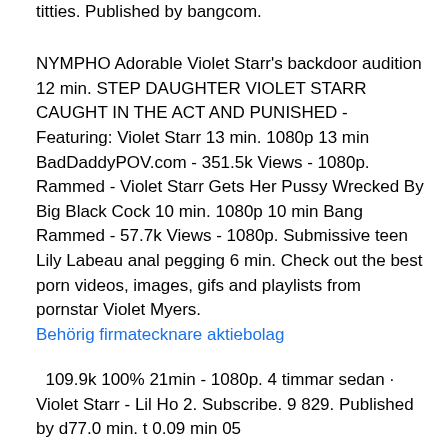titties. Published by bangcom.
NYMPHO Adorable Violet Starr's backdoor audition 12 min. STEP DAUGHTER VIOLET STARR CAUGHT IN THE ACT AND PUNISHED - Featuring: Violet Starr 13 min. 1080p 13 min BadDaddyPOV.com - 351.5k Views - 1080p. Rammed - Violet Starr Gets Her Pussy Wrecked By Big Black Cock 10 min. 1080p 10 min Bang Rammed - 57.7k Views - 1080p. Submissive teen Lily Labeau anal pegging 6 min. Check out the best porn videos, images, gifs and playlists from pornstar Violet Myers.
Behörig firmatecknare aktiebolag
109.9k 100% 21min - 1080p. 4 timmar sedan · Violet Starr - Lil Ho 2. Subscribe. 9 829. Published by d77.0 min. t 0.09 min 05